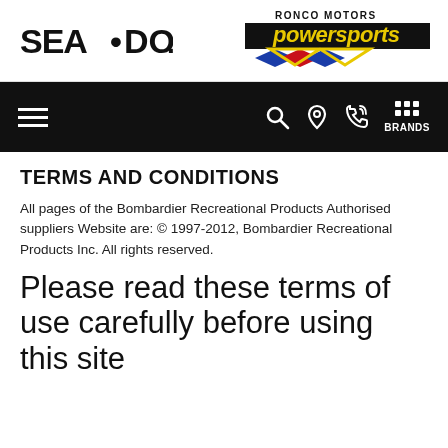[Figure (logo): Sea-Doo brand logo in black text with stylized lettering]
[Figure (logo): Ronco Motors Powersports logo with diamond shapes in blue, red, yellow and 'powersports' in yellow italic text on black background]
[Figure (other): Black navigation bar with hamburger menu on left, and search, location, phone, and brands icons on right]
TERMS AND CONDITIONS
All pages of the Bombardier Recreational Products Authorised suppliers Website are: © 1997-2012, Bombardier Recreational Products Inc. All rights reserved.
Please read these terms of use carefully before using this site